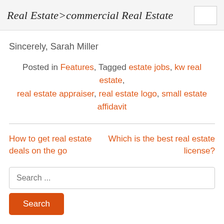Real Estate>commercial Real Estate
Sincerely, Sarah Miller
Posted in Features, Tagged estate jobs, kw real estate, real estate appraiser, real estate logo, small estate affidavit
How to get real estate deals on the go
Which is the best real estate license?
Search ...